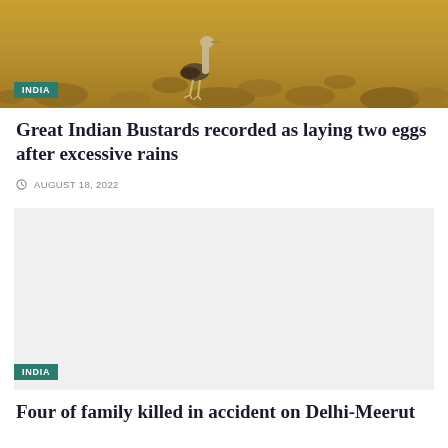[Figure (photo): A Great Indian Bustard bird walking through dry golden grassland/scrubland]
INDIA
Great Indian Bustards recorded as laying two eggs after excessive rains
AUGUST 18, 2022
[Figure (photo): Second article image placeholder, light grey background]
INDIA
Four of family killed in accident on Delhi-Meerut